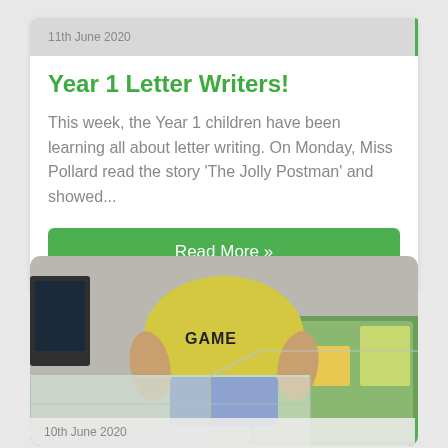11th June 2020
Year 1 Letter Writers!
This week, the Year 1 children have been learning all about letter writing. On Monday, Miss Pollard read the story 'The Jolly Postman' and showed...
Read More »
[Figure (photo): A child in a yellow shirt with 'GAME' text sitting on a colorful road map carpet, with a clear plastic storage box in the foreground]
10th June 2020